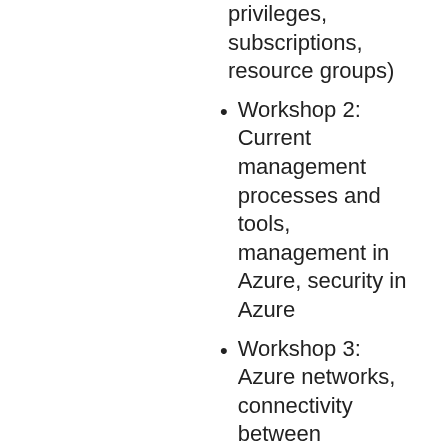privileges, subscriptions, resource groups)
Workshop 2: Current management processes and tools, management in Azure, security in Azure
Workshop 3: Azure networks, connectivity between onpremise and Azure
Workshop 4: Deployment model and schedule, migrating existing